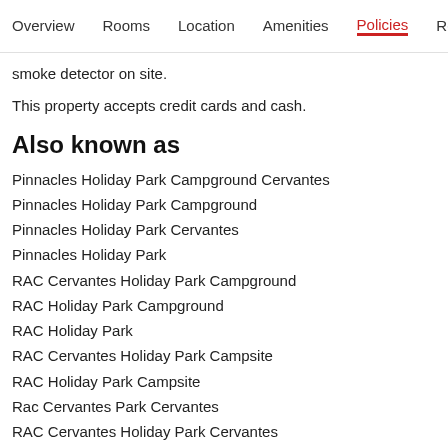Overview  Rooms  Location  Amenities  Policies  Reviews
smoke detector on site.
This property accepts credit cards and cash.
Also known as
Pinnacles Holiday Park Campground Cervantes
Pinnacles Holiday Park Campground
Pinnacles Holiday Park Cervantes
Pinnacles Holiday Park
RAC Cervantes Holiday Park Campground
RAC Holiday Park Campground
RAC Holiday Park
RAC Cervantes Holiday Park Campsite
RAC Holiday Park Campsite
Rac Cervantes Park Cervantes
RAC Cervantes Holiday Park Cervantes
RAC Cervantes Holiday Park Holiday Park
RAC Cervantes Holiday Park Holiday Park Cervantes